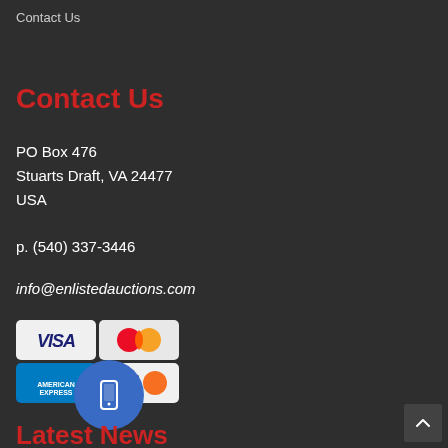Contact Us
Contact Us
PO Box 476
Stuarts Draft, VA 24477
USA
p. (540) 337-3446
info@enlistedauctions.com
[Figure (other): Credit card logos: VISA, MasterCard, American Express, Discover]
[Figure (other): Blue circle with mobile phone icon]
Latest News